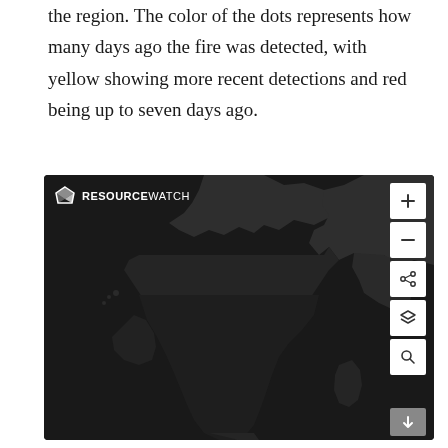the region. The color of the dots represents how many days ago the fire was detected, with yellow showing more recent detections and red being up to seven days ago.
[Figure (map): ResourceWatch interactive map showing Africa and surrounding regions in dark/satellite style. Map controls on right side include zoom in (+), zoom out (−), share, layers, and search buttons. The map shows landmasses in dark gray against a very dark background.]